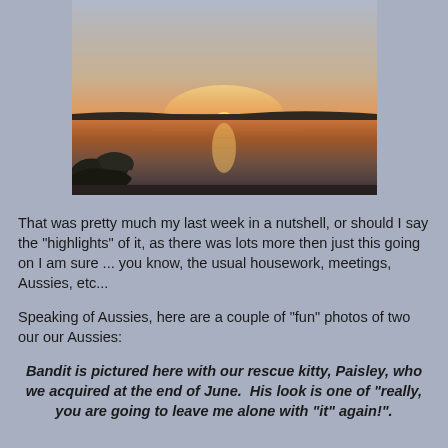[Figure (photo): Sunset over a calm body of water with dark landmass silhouette on the horizon and rocks visible in the lower left corner. Sky transitions from pale gray-blue at top to warm orange and golden tones near the horizon. The water mirrors the sunset colors.]
That was pretty much my last week in a nutshell, or should I say the "highlights" of it, as there was lots more then just this going on I am sure ... you know, the usual housework, meetings, Aussies, etc...
Speaking of Aussies, here are a couple of "fun" photos of two our our Aussies:
Bandit is pictured here with our rescue kitty, Paisley, who we acquired at the end of June.  His look is one of "really, you are going to leave me alone with "it" again!".